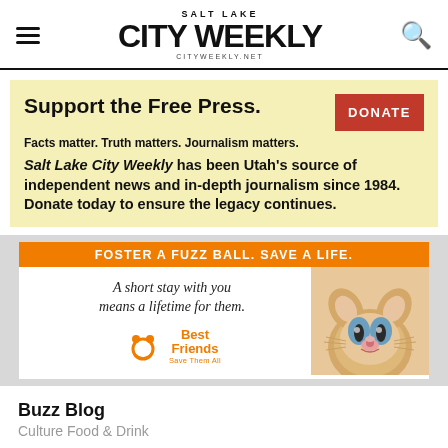SALT LAKE CITY WEEKLY — CITYWEEKLY.NET
Support the Free Press. Facts matter. Truth matters. Journalism matters. Salt Lake City Weekly has been Utah's source of independent news and in-depth journalism since 1984. Donate today to ensure the legacy continues.
[Figure (other): Best Friends Animal Society advertisement: 'FOSTER A FUZZ BALL. SAVE A LIFE. A short stay with you means a lifetime for them.' with kitten photo and Best Friends Save Them All logo]
Buzz Blog
Culture Food & Drink
Monday Meal: Green Chile